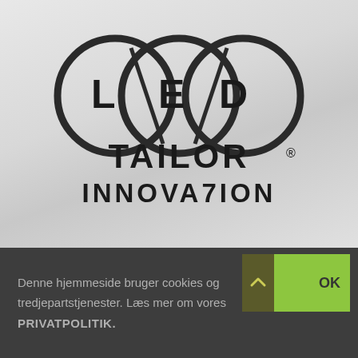[Figure (logo): LED TAILOR INNOVA7ION logo with three overlapping circles forming infinity-like shape containing letters L, E, D, followed by text TAILOR with registered trademark symbol and INNOVA7ION below]
Denne hjemmeside bruger cookies og tredjepartstjenester. Læs mer om vores PRIVATPOLITIK.